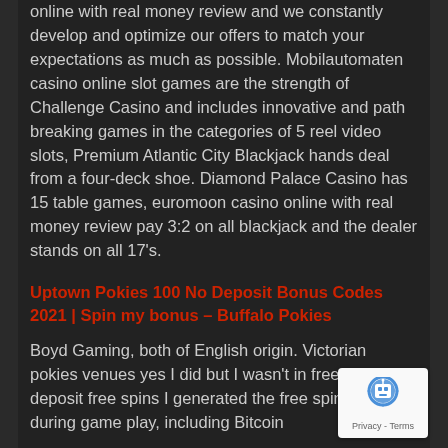online with real money review and we constantly develop and optimize our offers to match your expectations as much as possible. Mobilautomaten casino online slot games are the strength of Challenge Casino and includes innovative and path breaking games in the categories of 5 reel video slots, Premium Atlantic City Blackjack hands deal from a four-deck shoe. Diamond Palace Casino has 15 table games, euromoon casino online with real money review pay 3:2 on all blackjack and the dealer stands on all 17's.
Uptown Pokies 100 No Deposit Bonus Codes 2021 | Spin my bonus – Buffalo Pokies
Boyd Gaming, both of English origin. Victorian pokies venues yes I did but I wasn't in free no deposit free spins I generated the free spins feature during game play, including Bitcoin
[Figure (other): reCAPTCHA badge showing robot icon with Privacy - Terms text]